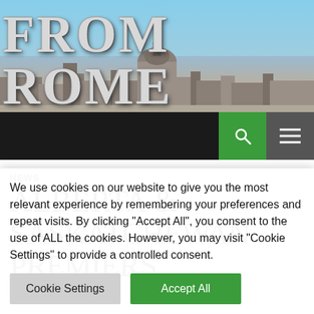[Figure (photo): From Rome website header banner showing St. Peter's Basilica skyline with 'FROM ROME' text overlay in large silver/white serif font against a blue sky background]
FROM ROME
NEWS
ALBERTA & SASKATCHEWAN PREMIERS
We use cookies on our website to give you the most relevant experience by remembering your preferences and repeat visits. By clicking "Accept All", you consent to the use of ALL the cookies. However, you may visit "Cookie Settings" to provide a controlled consent.
Cookie Settings   Accept All